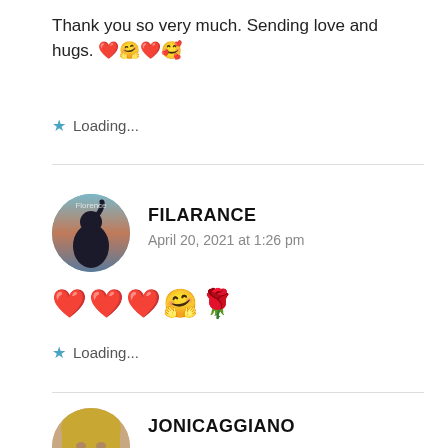Thank you so very much. Sending love and hugs. ❤️🤗❤️🥰
★ Loading...
FILARANCE
April 20, 2021 at 1:26 pm
❤️❤️❤️🤗🌹
★ Loading...
JONICAGGIANO